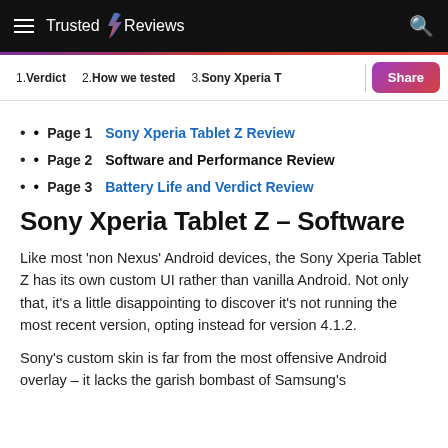Trusted Reviews
Page 1  Sony Xperia Tablet Z Review
Page 2  Software and Performance Review
Page 3  Battery Life and Verdict Review
Sony Xperia Tablet Z – Software
Like most 'non Nexus' Android devices, the Sony Xperia Tablet Z has its own custom UI rather than vanilla Android. Not only that, it's a little disappointing to discover it's not running the most recent version, opting instead for version 4.1.2.
Sony's custom skin is far from the most offensive Android overlay – it lacks the garish bombast of Samsung's